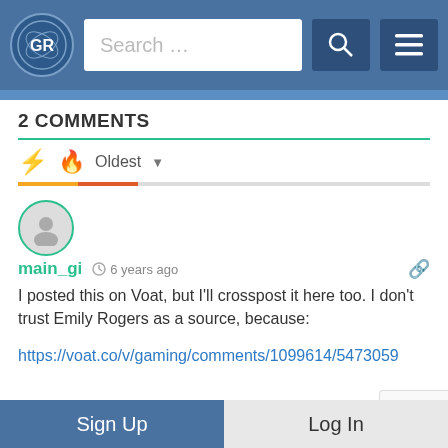GR [logo] Search ... [search icon] [menu icon]
2 COMMENTS
Oldest
main_gi  6 years ago
I posted this on Voat, but I'll crosspost it here too. I don't trust Emily Rogers as a source, because:
https://voat.co/v/gaming/comments/1099614/5473059
+ 0 —
Sign Up    Log In